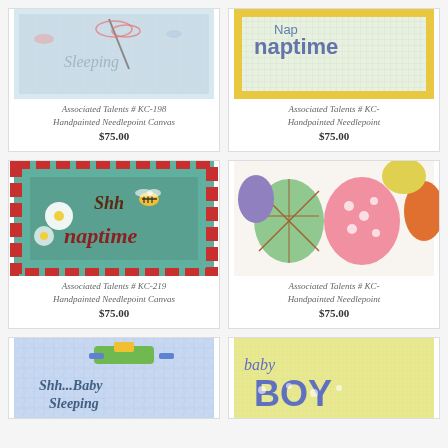[Figure (photo): Needlepoint canvas KC-198 with text 'Sleeping' and dragonfly motif on light blue background]
Associated Talents # KC-198
Handpainted Needlepoint Canvas
$75.00
[Figure (photo): Needlepoint canvas with 'Nap Time' text on colorful background with yellow border]
Associated Talents # KC-
Handpainted Needlepoint
$75.00
[Figure (photo): Needlepoint canvas KC-219 with 'Shh naptime' text, bee and daisy motifs, red dotted border on teal background]
Associated Talents # KC-219
Handpainted Needlepoint Canvas
$75.00
[Figure (photo): Needlepoint canvas with colorful argyle and polka dot pattern socks/mittens in pink, green, purple, orange]
Associated Talents # KC-
Handpainted Needlepoint
$75.00
[Figure (photo): Partial view of needlepoint canvas with 'Shh...Baby Sleeping' text and toy motifs on blue gingham background]
[Figure (photo): Partial view of needlepoint canvas with 'baby boy' text and polka dot letters on yellow background]